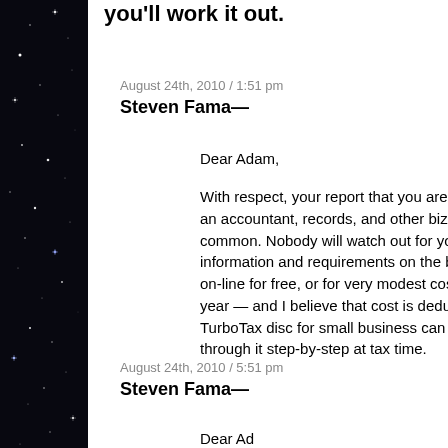you'll work it out.
August 24th, 2010 / 1:51 pm
Steven Fama—
Dear Adam,
With respect, your report that you are jus for an accountant, records, and other biz common. Nobody will watch out for you b information and requirements on the biz r on-line for free, or for very modest cost. year — and I believe that cost is deductib TurboTax disc for small business can be ha through it step-by-step at tax time.
August 24th, 2010 / 5:51 pm
Steven Fama—
Dear Ad